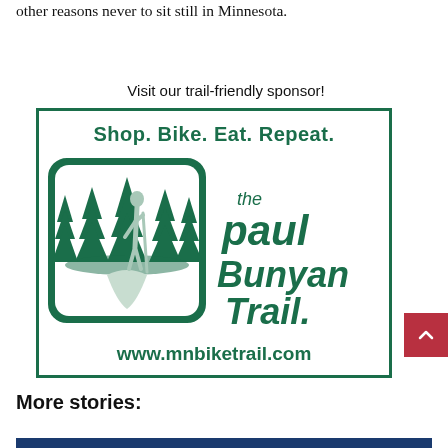other reasons never to sit still in Minnesota.
Visit our trail-friendly sponsor!
[Figure (logo): The Paul Bunyan Trail advertisement logo with tagline 'Shop. Bike. Eat. Repeat.' and silhouette of hiker among pine trees, with URL www.mnbiketrail.com]
More stories: